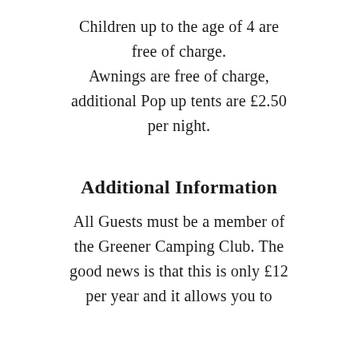Children up to the age of 4 are free of charge. Awnings are free of charge, additional Pop up tents are £2.50 per night.
Additional Information
All Guests must be a member of the Greener Camping Club. The good news is that this is only £12 per year and it allows you to